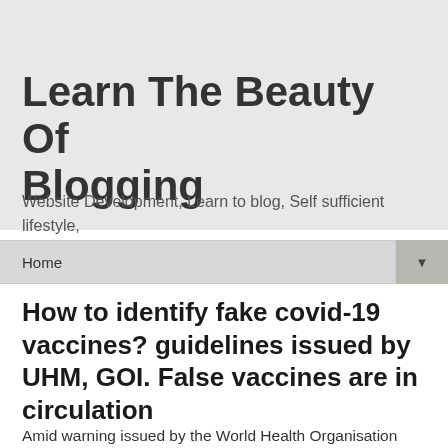Learn The Beauty Of Blogging
Website Development, Learn to blog, Self sufficient lifestyle, Website Monetizing, Organic products Review.
Home ▼
How to identify fake covid-19 vaccines? guidelines issued by UHM, GOI. False vaccines are in circulation
Amid warning issued by the World Health Organisation